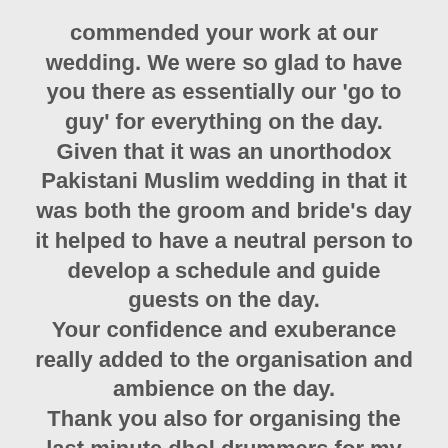commended your work at our wedding. We were so glad to have you there as essentially our 'go to guy' for everything on the day.
Given that it was an unorthodox Pakistani Muslim wedding in that it was both the groom and bride's day it helped to have a neutral person to develop a schedule and guide guests on the day.
Your confidence and exuberance really added to the organisation and ambience on the day.
Thank you also for organising the last minute dhol drummers for my husband's entrance. He